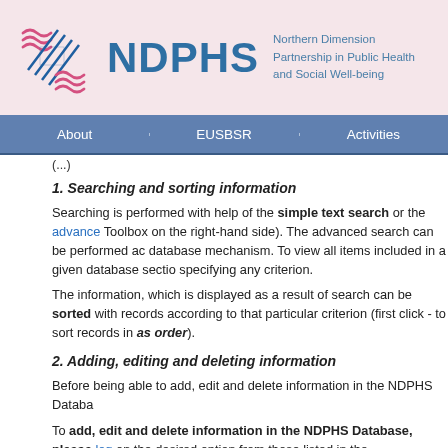[Figure (logo): NDPHS logo with wave/cross graphic symbol in blue and pink, text 'NDPHS' in blue, tagline 'Northern Dimension Partnership in Public Health and Social Well-being']
About | EUSBSR | Activities
(...)
1. Searching and sorting information
Searching is performed with help of the simple text search or the advanced search (Toolbox on the right-hand side). The advanced search can be performed according to the database mechanism. To view all items included in a given database section, without specifying any criterion.
The information, which is displayed as a result of search can be sorted with the records according to that particular criterion (first click - to sort records in ascending order).
2. Adding, editing and deleting information
Before being able to add, edit and delete information in the NDPHS Database...
To add, edit and delete information in the NDPHS Database, please log in and click on the desired option from those listed in the "Administration" section of the (only after you will have logged in).
In simple words, registration of a project, an organisation or a person in the...